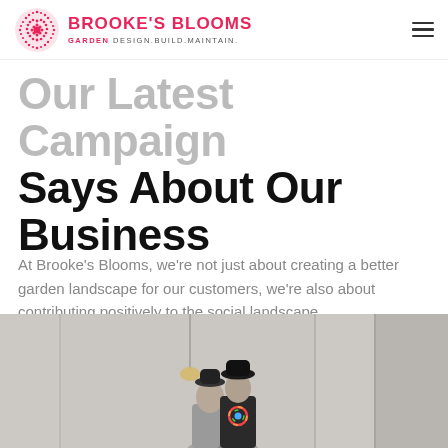Brooke's Blooms – Garden Design.Build.Maintain.
Our Latest Campaign Says About Our Business
At Brooke's Blooms, we're not just about creating a better garden landscape for our customers, we're also about contributing positively to the social landscape.
[Figure (photo): Two people standing indoors; one wearing a rainbow logo t-shirt and a black hat, the other in front. Interior setting with beige walls.]